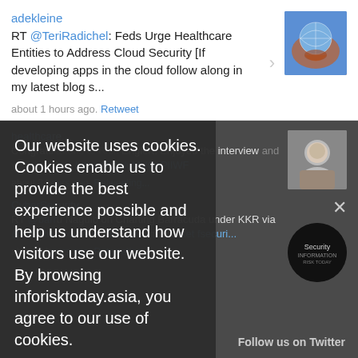adekleine
RT @TeriRadichel: Feds Urge Healthcare Entities to Address Cloud Security [If developing apps in the cloud follow along in my latest blog s...
about 1 hours ago. Retweet
healthca...
Congratulations to Rick Englert. Enjoyed the interview and your insights. https://t.co/uMVOzPlIWF
about 3 hours ago. Retweeting...
CyberSecurity...
RT @barr...Naguib on Charting Barracuda...under KKR via @InfoRis...co/hAuYY816do #midmar...fsecuri...
about 4 hours ago. Retweeting...
Our website uses cookies. Cookies enable us to provide the best experience possible and help us understand how visitors use our website. By browsing inforisktoday.asia, you agree to our use of cookies.
Follow us on Twitter